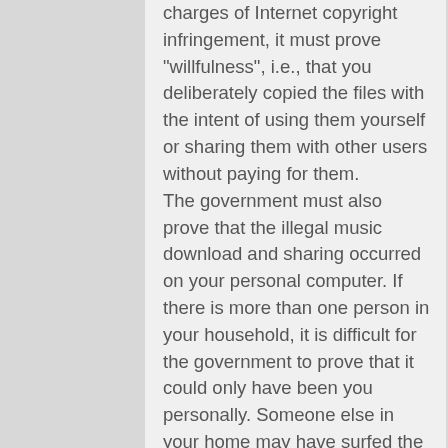charges of Internet copyright infringement, it must prove "willfulness", i.e., that you deliberately copied the files with the intent of using them yourself or sharing them with other users without paying for them.
The government must also prove that the illegal music download and sharing occurred on your personal computer. If there is more than one person in your household, it is difficult for the government to prove that it could only have been you personally. Someone else in your home may have surfed the Internet and downloaded or uploaded the files in violation of Internet copyright laws.
Computer Hacking:
Computer Hacking refers to the act of gaining unauthorized access to computer systems for the purpose of stealing, altering or corrupting data. Because the FCC holds jurisdiction over the Internet a defendant is subject to Federal Prosecution. The most common penalty associated with hacking crimes is restitution in order to compensate those who suffered financial loss due to the hacking and the considerable financial damage that can result from computer hacking. The